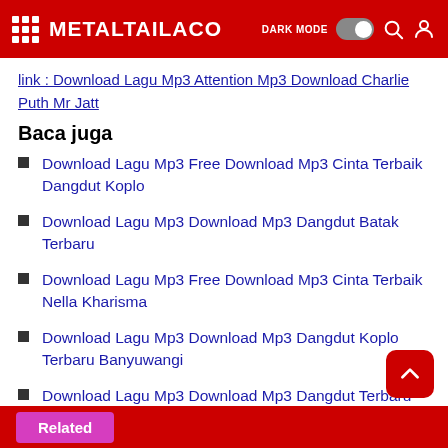METALTAILACO
link : Download Lagu Mp3 Attention Mp3 Download Charlie Puth Mr Jatt
Baca juga
Download Lagu Mp3 Free Download Mp3 Cinta Terbaik Dangdut Koplo
Download Lagu Mp3 Download Mp3 Dangdut Batak Terbaru
Download Lagu Mp3 Free Download Mp3 Cinta Terbaik Nella Kharisma
Download Lagu Mp3 Download Mp3 Dangdut Koplo Terbaru Banyuwangi
Download Lagu Mp3 Download Mp3 Dangdut Terbaru Banyuwangi
Related